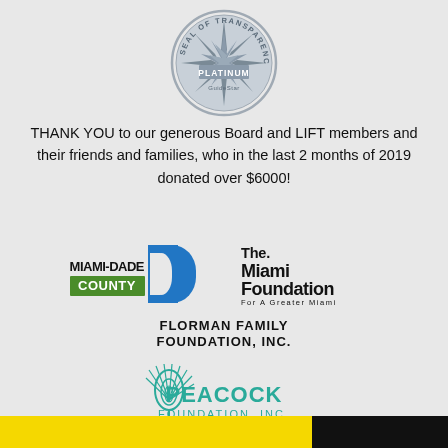[Figure (logo): GuideStar Platinum Seal of Transparency circular badge]
THANK YOU to our generous Board and LIFT members and their friends and families, who in the last 2 months of 2019 donated over $6000!
[Figure (logo): Miami-Dade County logo with blue D shape and green COUNTY bar]
[Figure (logo): The Miami Foundation For A Greater Miami logo]
[Figure (logo): Florman Family Foundation, Inc. text logo]
[Figure (logo): Peacock Foundation, Inc. logo with teal peacock feather]
[Figure (logo): Partial yellow and black logo bar at bottom]